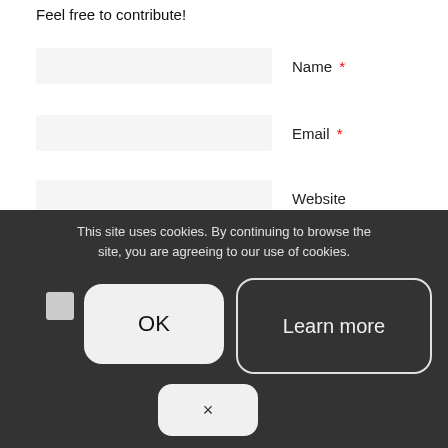Feel free to contribute!
Name *
Email *
Website
This site uses cookies. By continuing to browse the site, you are agreeing to our use of cookies.
OK
Learn more
hCAPTCHA
×